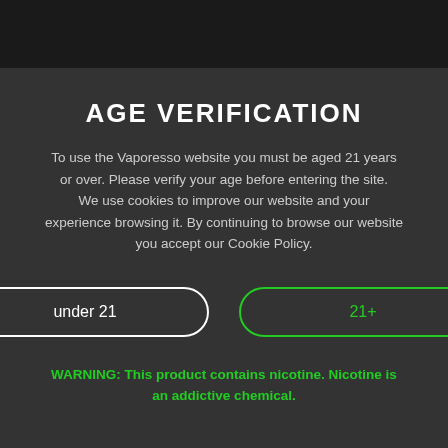AGE VERIFICATION
To use the Vaporesso website you must be aged 21 years or over. Please verify your age before entering the site.
We use cookies to improve our website and your experience browsing it. By continuing to browse our website you accept our Cookie Policy.
under 21
21+
WARNING: This product contains nicotine. Nicotine is an addictive chemical.